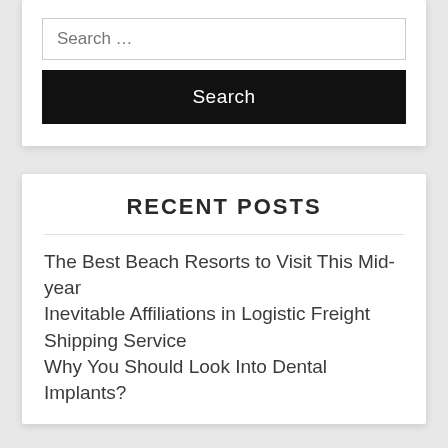Search …
Search
RECENT POSTS
The Best Beach Resorts to Visit This Mid-year
Inevitable Affiliations in Logistic Freight Shipping Service
Why You Should Look Into Dental Implants?